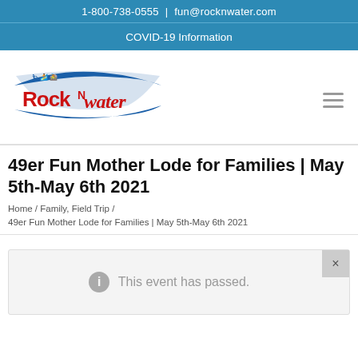1-800-738-0555 | fun@rocknwater.com
COVID-19 Information
[Figure (logo): Rock N Water outdoor adventure company logo with blue banner and red text]
49er Fun Mother Lode for Families | May 5th-May 6th 2021
Home / Family, Field Trip / 49er Fun Mother Lode for Families | May 5th-May 6th 2021
This event has passed.